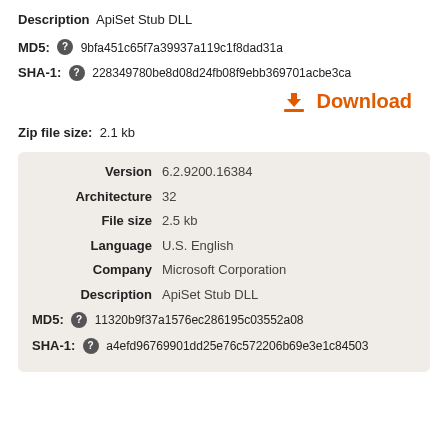Description  ApiSet Stub DLL
MD5:  9bfa451c65f7a39937a119c1f8dad31a
SHA-1:  228349780be8d08d24fb08f9ebb369701acbe3ca
Download
Zip file size:  2.1 kb
| Field | Value |
| --- | --- |
| Version | 6.2.9200.16384 |
| Architecture | 32 |
| File size | 2.5 kb |
| Language | U.S. English |
| Company | Microsoft Corporation |
| Description | ApiSet Stub DLL |
MD5:  11320b9f37a1576ec286195c03552a08
SHA-1:  a4efd96769901dd25e76c572206b69e3e1c84503